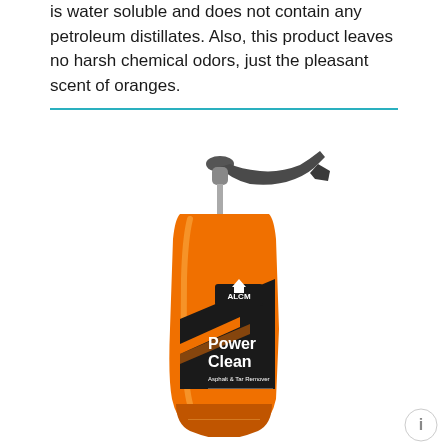is water soluble and does not contain any petroleum distillates. Also, this product leaves no harsh chemical odors, just the pleasant scent of oranges.
[Figure (photo): Orange spray bottle of ALCM Power Clean Asphalt & Tar Remover product with a grey trigger sprayer]